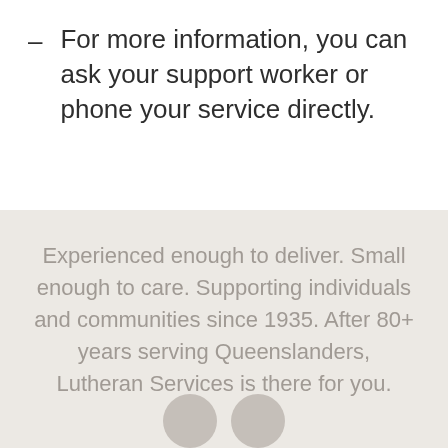For more information, you can ask your support worker or phone your service directly.
Experienced enough to deliver. Small enough to care. Supporting individuals and communities since 1935. After 80+ years serving Queenslanders, Lutheran Services is there for you.